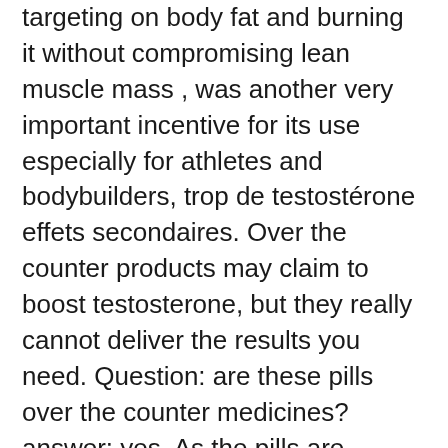targeting on body fat and burning it without compromising lean muscle mass , was another very important incentive for its use especially for athletes and bodybuilders, trop de testostérone effets secondaires. Over the counter products may claim to boost testosterone, but they really cannot deliver the results you need. Question: are these pills over the counter medicines? answer: yes. As the pills are manufactured after combining all natural ingredients in the. Do something about it with one of the best testosterone boosters today. As such, we're hoping you can count on one of our top t-boosters. Most over-the-counter testosterone boosters don't have high enough dosages to be as effective as they claim. To help you find a testosterone. If you choose to buy an over-the-counter (otc) testosterone booster, it's essential to select a high-quality product to increase the chances